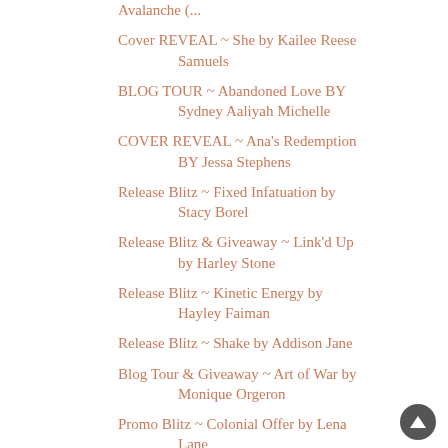Avalanche (...
Cover REVEAL ~ She by Kailee Reese Samuels
BLOG TOUR ~ Abandoned Love BY Sydney Aaliyah Michelle
COVER REVEAL ~ Ana's Redemption BY Jessa Stephens
Release Blitz ~ Fixed Infatuation by Stacy Borel
Release Blitz & Giveaway ~ Link'd Up by Harley Stone
Release Blitz ~ Kinetic Energy by Hayley Faiman
Release Blitz ~ Shake by Addison Jane
Blog Tour & Giveaway ~ Art of War by Monique Orgeron
Promo Blitz ~ Colonial Offer by Lena Lane
Release Blitz & Giveaway ~ Island by S.E. Rose